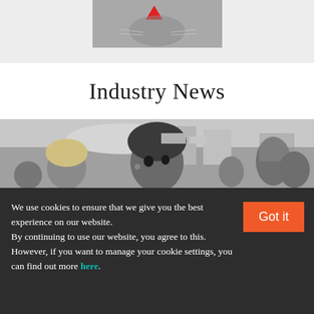[Figure (photo): Partial close-up of a cat face with a red graphic element, on a grey background banner at the top of the page]
Industry News
[Figure (photo): Black and white photograph of people at an outdoor event; a young person with curly hair looks directly at the camera, others visible in background]
We use cookies to ensure that we give you the best experience on our website. By continuing to use our website, you agree to this. However, if you want to manage your cookie settings, you can find out more here.